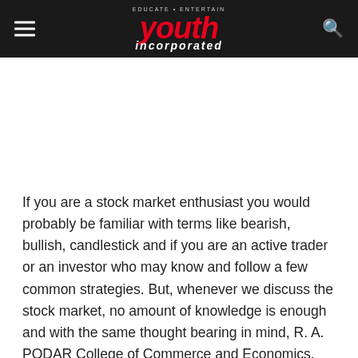Youth Incorporated — EDUCATE • ENTERTAIN
If you are a stock market enthusiast you would probably be familiar with terms like bearish, bullish, candlestick and if you are an active trader or an investor who may know and follow a few common strategies. But, whenever we discuss the stock market, no amount of knowledge is enough and with the same thought bearing in mind, R. A. PODAR College of Commerce and Economics, Autonomous are all geared up to present MONETA® 2021- Beyond the Charts because charts speak volume. With a footfall of over 15,000 people in